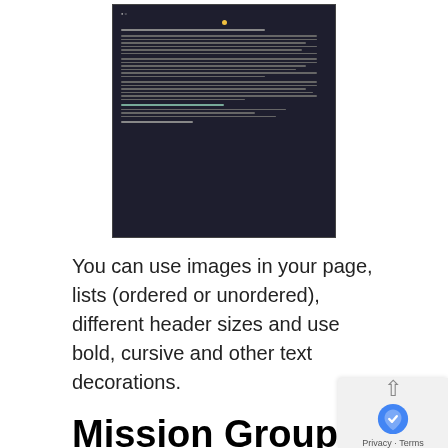[Figure (screenshot): Screenshot of a dark-themed web page or interface showing text content and lists on a dark background]
You can use images in your page, lists (ordered or unordered), different header sizes and use bold, cursive and other text decorations.
Mission Groups:
The next thing we want to look at are mission groups. We all do the missions however with mission groups you organize missions into one place. The thing I've seen done is organizing them into seasons. From a visitor